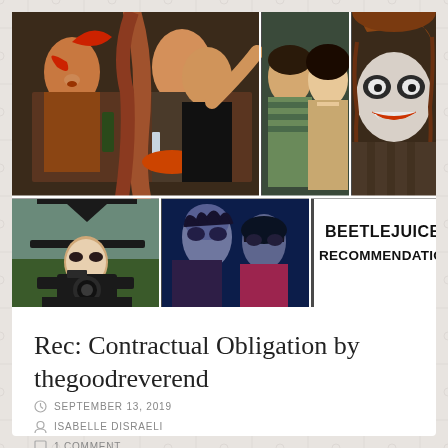[Figure (photo): Collage of movie stills from Beetlejuice (1988): top row shows dinner table scene with tentacle creature and shocked guests, two teens from the film, and the Beetlejuice character with face paint; bottom row shows girl in black witch hat with camera, and two characters under blue lighting.]
BEETLEJUICE RECOMMENDATIONS
Rec: Contractual Obligation by thegoodreverend
SEPTEMBER 13, 2019
ISABELLE DISRAELI
1 COMMENT